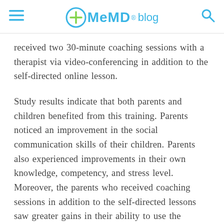MeMD blog
received two 30-minute coaching sessions with a therapist via video-conferencing in addition to the self-directed online lesson.
Study results indicate that both parents and children benefited from this training. Parents noticed an improvement in the social communication skills of their children. Parents also experienced improvements in their own knowledge, competency, and stress level. Moreover, the parents who received coaching sessions in addition to the self-directed lessons saw greater gains in their ability to use the techniques taught. This form of telehealth “training” allows for low-cost, low-intensity care for all families. As